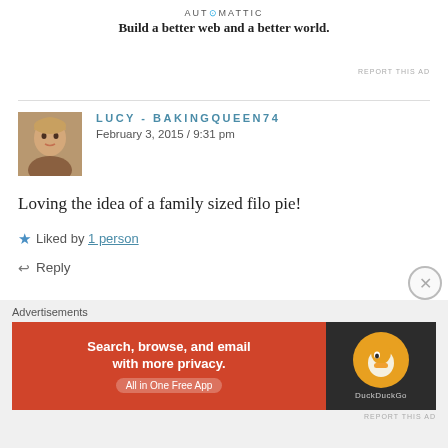[Figure (logo): Automattic logo with tagline: Build a better web and a better world.]
REPORT THIS AD
[Figure (photo): Avatar photo of Lucy - BakingQueen74, a blonde woman]
LUCY - BAKINGQUEEN74
February 3, 2015 / 9:31 pm
Loving the idea of a family sized filo pie!
★ Liked by 1 person
↩ Reply
[Figure (photo): Avatar photo of Amanda, a dark-haired woman]
AMANDA
February 4, 2015 / 12:25 am
Advertisements
[Figure (other): DuckDuckGo advertisement banner: Search, browse, and email with more privacy. All in One Free App]